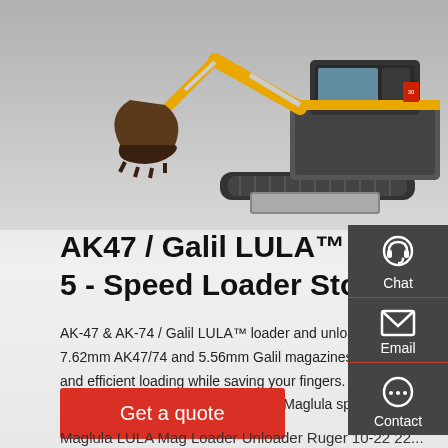[Figure (photo): Yellow and black mini excavator / compact tracked excavator with bucket arm and blade, photographed on white/grey background]
AK47 / Galil LULA™ – 7.62×39 / 5 - Speed Loader Store
AK-47 & AK-74 / Galil LULA™ loader and unloader for- 7.62mm AK47/74 and 5.56mm Galil magazines. Provides fast and efficient loading while saving your fingers. Add enjoyment to yiou range time with this genuine Maglula speed loader
Get a quote
Maglula LULA Mag Loader Unloader Ruger 10-22 22...